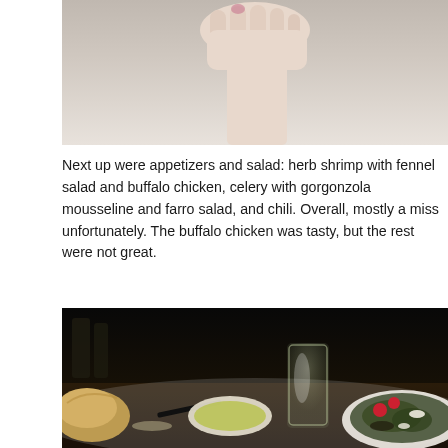[Figure (photo): Partial view of a hand against a light cream/beige background, cropped at the top of the page]
Next up were appetizers and salad: herb shrimp with fennel salad and buffalo chicken, celery with gorgonzola mousseline and farro salad, and chili... Overall, mostly a miss unfortunately. The buffalo chicken was tasty, but... great.
[Figure (photo): Dark restaurant table setting showing bread roll, a bowl of olive oil, a glass of water, and a white plate with salad topped with raspberries and white cheese]